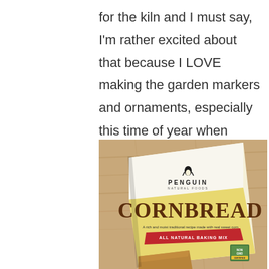for the kiln and I must say, I'm rather excited about that because I LOVE making the garden markers and ornaments, especially this time of year when there's no garden to work in.
[Figure (photo): A box of Penguin Natural Foods Cornbread All Natural Baking Mix sitting on a wooden table surface. The box is white and yellow with large red/brown letters spelling CORNBREAD, with text 'A rich and moist traditional recipe made with real sweet corn' and a red banner reading 'ALL NATURAL BAKING MIX'. A Non-GMO Certified badge is visible in the bottom right corner. A piece of cornbread is partially visible at the bottom.]